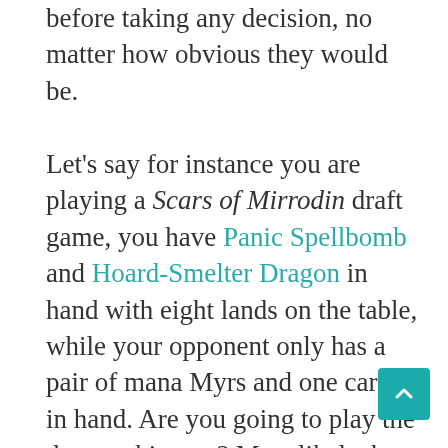before taking any decision, no matter how obvious they would be.

Let's say for instance you are playing a Scars of Mirrodin draft game, you have Panic Spellbomb and Hoard-Smelter Dragon in hand with eight lands on the table, while your opponent only has a pair of mana Myrs and one card in hand. Are you going to play the dragon this turn? Most likely, but it still shouldn't be your fist play. You should play the bomb first, sacrifice it, and then make a decision. What will it do 99% of the time on this play?